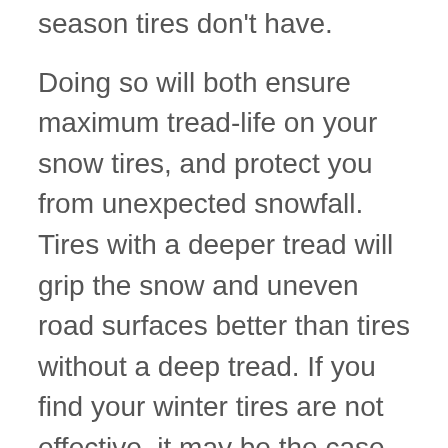season tires don't have.
Doing so will both ensure maximum tread-life on your snow tires, and protect you from unexpected snowfall. Tires with a deeper tread will grip the snow and uneven road surfaces better than tires without a deep tread. If you find your winter tires are not effective, it may be the case that they have been over-used and the tread is no longer as deep as it once was.
Additionally, using summer tires in cold weather can be dangerous. The compound used to build non-winter tires loses its flexibility in cold weather. Therefore, it's